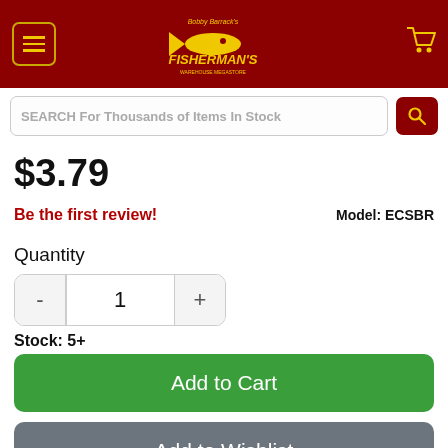[Figure (logo): Bobby Barrack's Fisherman's Warehouse Megastore Online logo on dark red header with hamburger menu and cart icon]
SEARCH For Thousands of Items In Stock
$3.79
Be the first review!
Model: ECSBR
Quantity
1
Stock: 5+
Add to Cart
Add to Wishlist